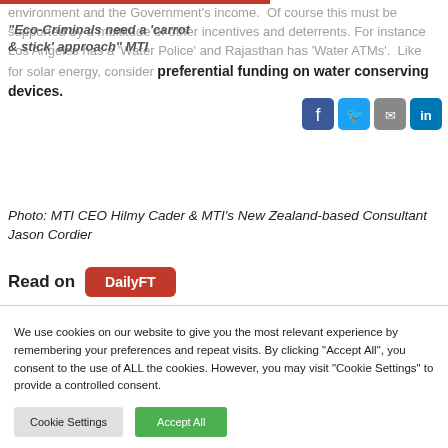environment and the Government’s income. Of course this must be supported by a multitude of other incentives and deterrents. For instance Los Angeles has a ‘Water Police’ and Rajasthan has ‘Water ATMs’. Like for solar energy, consider preferential funding on water conserving devices.
“Eco-Criminals need a ‘carrot & stick’ approach” MTI
Photo: MTI CEO Hilmy Cader & MTI’s New Zealand-based Consultant Jason Cordier
Read on DailyFT
We use cookies on our website to give you the most relevant experience by remembering your preferences and repeat visits. By clicking “Accept All”, you consent to the use of ALL the cookies. However, you may visit “Cookie Settings” to provide a controlled consent.